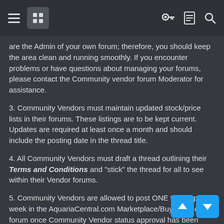AquariaCentral forum navigation header
are the Admin of your own forum; therefore, you should keep the area clean and running smoothly. If you encounter problems or have questions about managing your forums, please contact the Community vendor forum Moderator for assistance.
3. Community Vendors must maintain updated stock/price lists in their forums. These listings are to be kept current. Updates are required at least once a month and should include the posting date in the thread title.
4. All Community Vendors must draft a thread outlining their Terms and Conditions and "stick" the thread for all to see within their Vendor forums.
5. Community Vendors are allowed to post ONE thread per week in the AquariaCentral.com Marketplace/Buy and Sell forum once Community Vendor status approval has been granted and while waiting for their designated Community Vendor forums to be created. Use of the VENDOR prefix in title of these sale threads is required. Community Vendors must also include the posting date in the title and announce current stock or new items, as usual. This